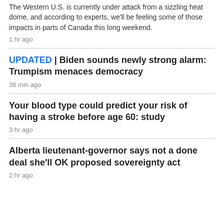The Western U.S. is currently under attack from a sizzling heat dome, and according to experts, we'll be feeling some of those impacts in parts of Canada this long weekend.
1 hr ago
UPDATED | Biden sounds newly strong alarm: Trumpism menaces democracy
36 min ago
Your blood type could predict your risk of having a stroke before age 60: study
3 hr ago
Alberta lieutenant-governor says not a done deal she'll OK proposed sovereignty act
2 hr ago